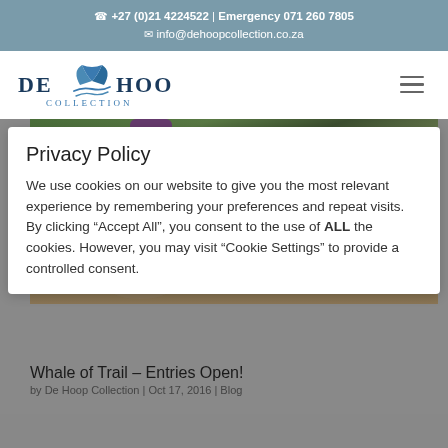+27 (0)21 4224522 | Emergency 071 260 7805
info@dehoopcollection.co.za
[Figure (logo): De Hoop Collection logo with whale tail graphic in blue, text 'DE HOOP' in dark teal/navy]
We use cookies on our website to give you the most relevant experience by remembering your preferences and repeat visits. By clicking “Accept All”, you consent to the use of ALL the cookies. However, you may visit “Cookie Settings” to provide a controlled consent.
Privacy Policy
[Figure (photo): Trail runners on rocky mountain path with fynbos vegetation, one wearing purple top and black leggings]
Whale of Trail – Entries Open!
by De Hoop Collection | Oct 17, 2016 | Blog